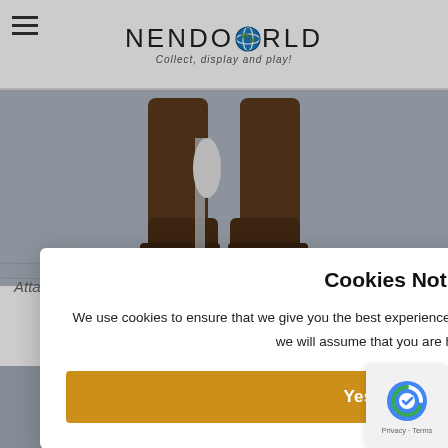NENDOWORLD — Collect, display and play!
[Figure (photo): Close-up photo of anime figure legs wearing brown boots on a display stand with grey background]
Attack S... ...mouth (Re-release)
...es a rerelease
[Figure (other): Cookie consent modal overlay with title 'Cookies Notice', body text about cookie usage policy, and a golden 'Yes, I Accept.' button]
[Figure (other): Google reCAPTCHA badge with spinner icon and Privacy - Terms text]
[Figure (photo): Bottom portion of product figure on grey background]